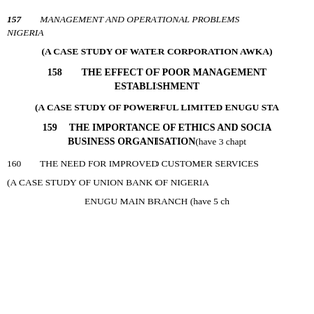157    MANAGEMENT AND OPERATIONAL PROBLEMS NIGERIA
(A CASE STUDY OF WATER CORPORATION AWKA)
158    THE EFFECT OF POOR MANAGEMENT ESTABLISHMENT
(A CASE STUDY OF POWERFUL LIMITED ENUGU STA
159    THE IMPORTANCE OF ETHICS AND SOCIA BUSINESS ORGANISATION(have 3 chapt
160    THE NEED FOR IMPROVED CUSTOMER SERVICES
(A CASE STUDY OF UNION BANK OF NIGERIA
ENUGU MAIN BRANCH (have 5 ch